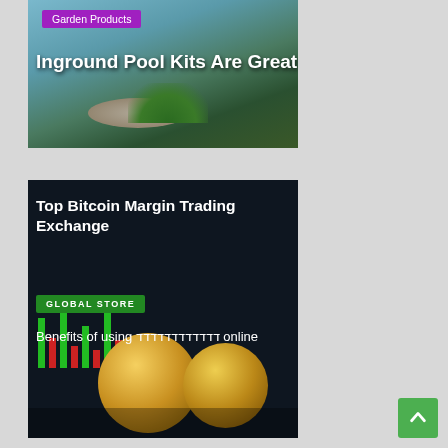[Figure (photo): Inground pool with stone landscaping and grass, overlaid with Garden Products tag and title text]
[Figure (photo): Dark background with Bitcoin gold coins and trading chart bars. Shows 'Top Bitcoin Margin Trading Exchange' heading, 'GLOBAL STORE' green tag, and 'Benefits of using [symbols] online' subtitle text]